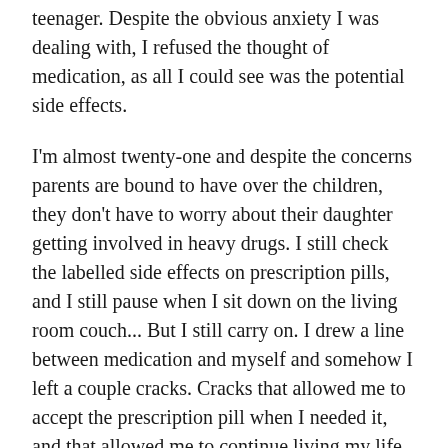teenager. Despite the obvious anxiety I was dealing with, I refused the thought of medication, as all I could see was the potential side effects.
I'm almost twenty-one and despite the concerns parents are bound to have over the children, they don't have to worry about their daughter getting involved in heavy drugs. I still check the labelled side effects on prescription pills, and I still pause when I sit down on the living room couch... But I still carry on. I drew a line between medication and myself and somehow I left a couple cracks. Cracks that allowed me to accept the prescription pill when I needed it, and that allowed me to continue living my life when all the sudden the room smelt like burnt toast.
We create our own boundaries, constantly and subconsciously. And they shape us, but not quite as much as stepping out of them does – not quite as much as